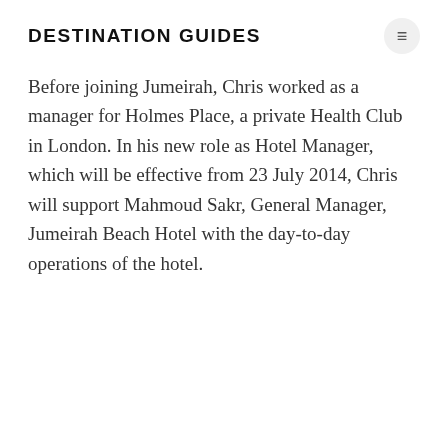DESTINATION GUIDES
Before joining Jumeirah, Chris worked as a manager for Holmes Place, a private Health Club in London. In his new role as Hotel Manager, which will be effective from 23 July 2014, Chris will support Mahmoud Sakr, General Manager, Jumeirah Beach Hotel with the day-to-day operations of the hotel.